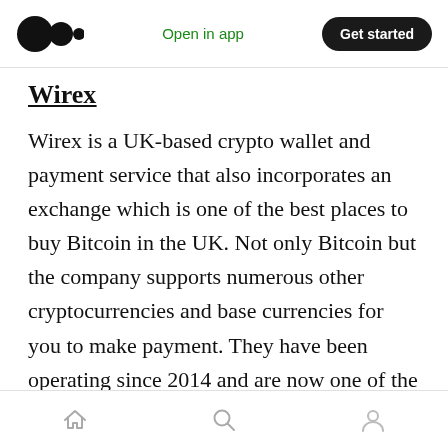Open in app | Get started
Wirex
Wirex is a UK-based crypto wallet and payment service that also incorporates an exchange which is one of the best places to buy Bitcoin in the UK. Not only Bitcoin but the company supports numerous other cryptocurrencies and base currencies for you to make payment. They have been operating since 2014 and are now one of the most widely used services in the world with availability in more than 100 countries, their own secure Visa & Mastercard, and more than 3